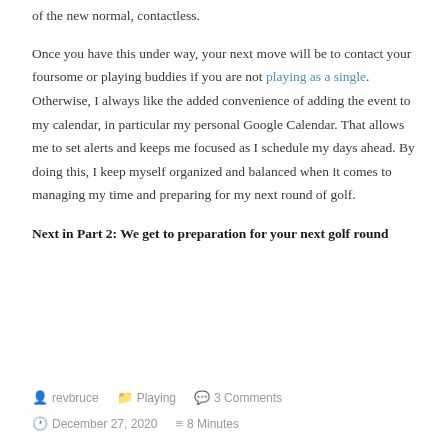of the new normal, contactless.
Once you have this under way, your next move will be to contact your foursome or playing buddies if you are not playing as a single. Otherwise, I always like the added convenience of adding the event to my calendar, in particular my personal Google Calendar. That allows me to set alerts and keeps me focused as I schedule my days ahead. By doing this, I keep myself organized and balanced when it comes to managing my time and preparing for my next round of golf.
Next in Part 2: We get to preparation for your next golf round
revbruce  Playing  3 Comments  December 27, 2020  8 Minutes